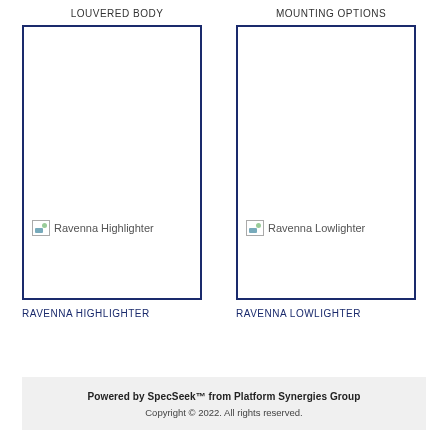LOUVERED BODY
MOUNTING OPTIONS
[Figure (photo): Ravenna Highlighter product image placeholder in a navy-bordered box]
[Figure (photo): Ravenna Lowlighter product image placeholder in a navy-bordered box]
RAVENNA HIGHLIGHTER
RAVENNA LOWLIGHTER
Powered by SpecSeek™ from Platform Synergies Group
Copyright © 2022. All rights reserved.